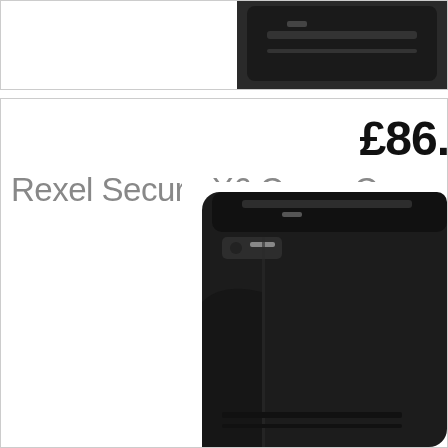[Figure (photo): Top portion of a product listing card showing a dark/black paper shredder image cropped at the top right]
£86.
Rexel Secure X6 Cross-Cu
[Figure (photo): Rexel Secure X6 Cross-Cut paper shredder in black, shown from above-right angle, partially cropped on the right side]